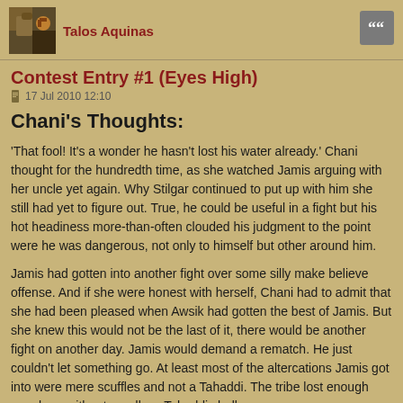Talos Aquinas
Contest Entry #1 (Eyes High)
17 Jul 2010 12:10
Chani's Thoughts:
'That fool! It's a wonder he hasn't lost his water already.' Chani thought for the hundredth time, as she watched Jamis arguing with her uncle yet again. Why Stilgar continued to put up with him she still had yet to figure out. True, he could be useful in a fight but his hot headiness more-than-often clouded his judgment to the point were he was dangerous, not only to himself but other around him.
Jamis had gotten into another fight over some silly make believe offense. And if she were honest with herself, Chani had to admit that she had been pleased when Awsik had gotten the best of Jamis. But she knew this would not be the last of it, there would be another fight on another day. Jamis would demand a rematch. He just couldn't let something go. At least most of the altercations Jamis got into were mere scuffles and not a Tahaddi. The tribe lost enough members without needless Tahaddi challenges.
Chani returned her focus back to her work, preparing the evening meal